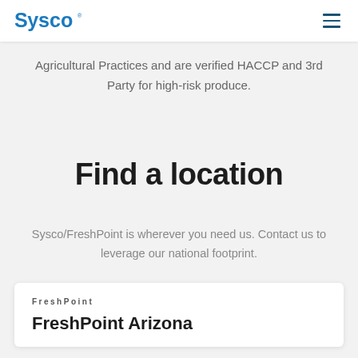Sysco [logo] [hamburger menu]
Agricultural Practices and are verified HACCP and 3rd Party for high-risk produce.
Find a location
Sysco/FreshPoint is wherever you need us. Contact us to leverage our national footprint.
FreshPoint
FreshPoint Arizona